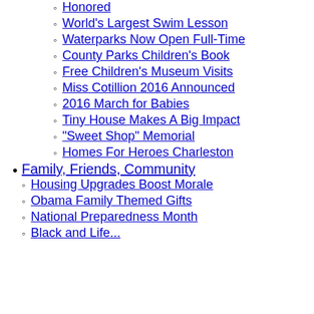Honored
World's Largest Swim Lesson
Waterparks Now Open Full-Time
County Parks Children's Book
Free Children's Museum Visits
Miss Cotillion 2016 Announced
2016 March for Babies
Tiny House Makes A Big Impact
"Sweet Shop" Memorial
Homes For Heroes Charleston
Family, Friends, Community
Housing Upgrades Boost Morale
Obama Family Themed Gifts
National Preparedness Month
Black and Life...